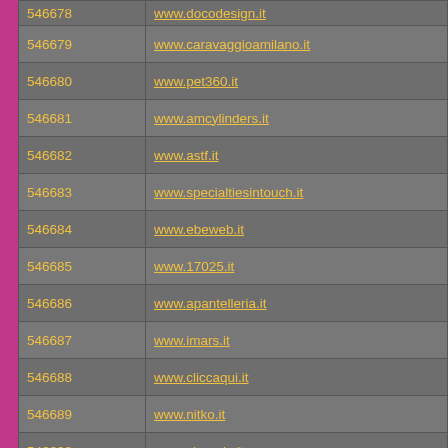| ID | URL |
| --- | --- |
| 546678 | www.docodesign.it |
| 546679 | www.caravaggioamilano.it |
| 546680 | www.pet360.it |
| 546681 | www.amcylinders.it |
| 546682 | www.astf.it |
| 546683 | www.specialtiesintouch.it |
| 546684 | www.ebeweb.it |
| 546685 | www.17025.it |
| 546686 | www.apantelleria.it |
| 546687 | www.imars.it |
| 546688 | www.cliccaqui.it |
| 546689 | www.nitko.it |
| 546690 | www.zingerle.it |
| 546691 | www.crisys.it |
| 546692 | www.boxofficevisa.it |
| 546693 | www.panificiofrusconi.it |